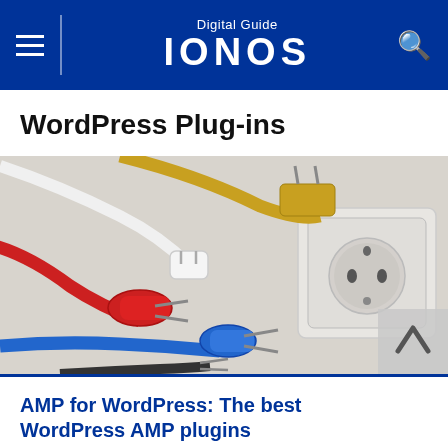Digital Guide IONOS
WordPress Plug-ins
[Figure (photo): Multiple colorful electric plugs (white, yellow, red, blue, black cables) unplugged near a white European wall socket, photographed from above on a light gray background. A gray back-to-top arrow button is overlaid at bottom right.]
AMP for WordPress: The best WordPress AMP plugins